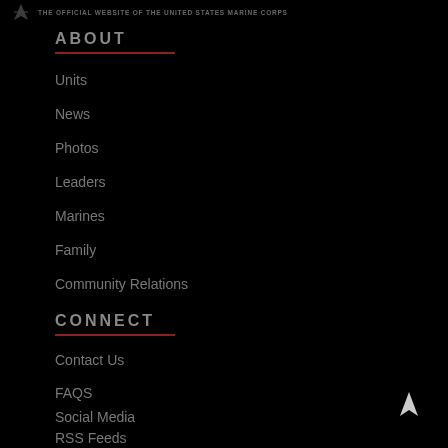THE OFFICIAL WEBSITE OF THE UNITED STATES MARINE CORPS
About
Units
News
Photos
Leaders
Marines
Family
Community Relations
Connect
Contact Us
FAQS
Social Media
RSS Feeds